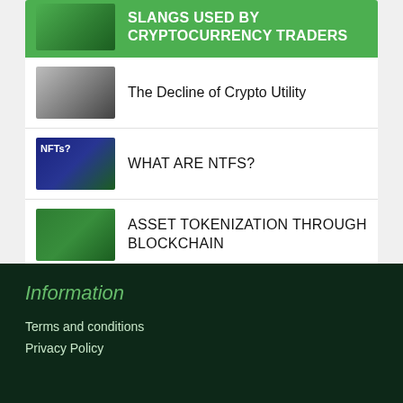SLANGS USED BY CRYPTOCURRENCY TRADERS
The Decline of Crypto Utility
WHAT ARE NTFs?
ASSET TOKENIZATION THROUGH BLOCKCHAIN
Cryptocurrency_ Fulfilling The Traditional Functions Of Money
Information
Terms and conditions
Privacy Policy